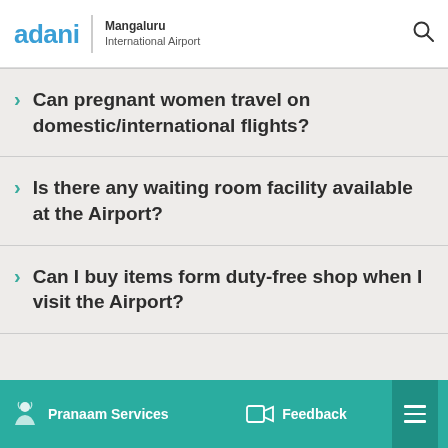adani | Mangaluru International Airport
Can pregnant women travel on domestic/international flights?
Is there any waiting room facility available at the Airport?
Can I buy items form duty-free shop when I visit the Airport?
Pranaam Services   Feedback